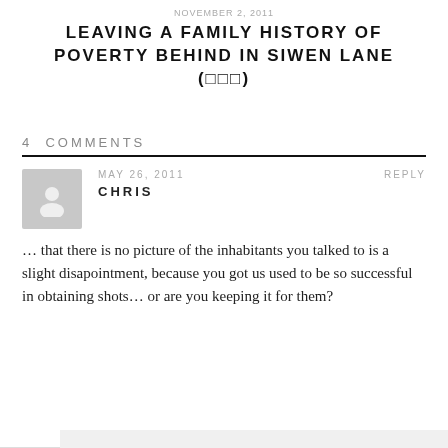NOVEMBER 2, 2011
LEAVING A FAMILY HISTORY OF POVERTY BEHIND IN SIWEN LANE (□□□)
4 COMMENTS
MAY 26, 2011
REPLY
CHRIS
… that there is no picture of the inhabitants you talked to is a slight disapointment, because you got us used to be so successful in obtaining shots… or are you keeping it for them?